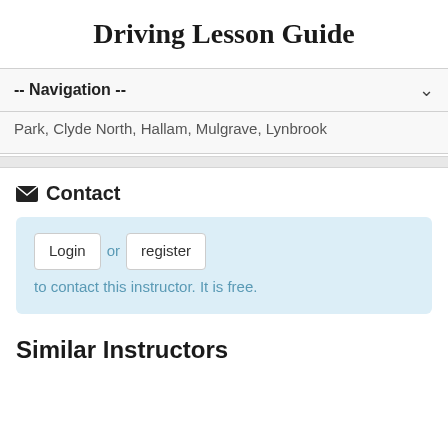Driving Lesson Guide
-- Navigation --
Park, Clyde North, Hallam, Mulgrave, Lynbrook
Contact
Login or register to contact this instructor. It is free.
Similar Instructors